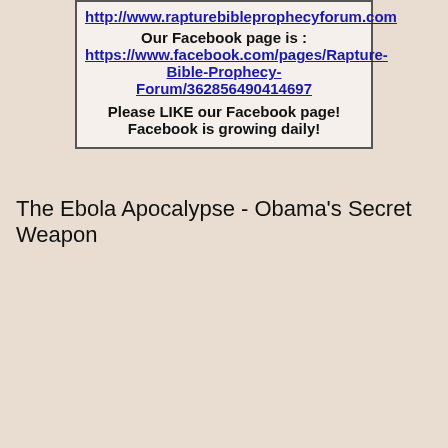http://www.rapturebibleprophecyforum.com
Our Facebook page is :
https://www.facebook.com/pages/Rapture-Bible-Prophecy-Forum/362856490414697
Please LIKE our Facebook page!
Facebook is growing daily!
The Ebola Apocalypse - Obama's Secret Weapon